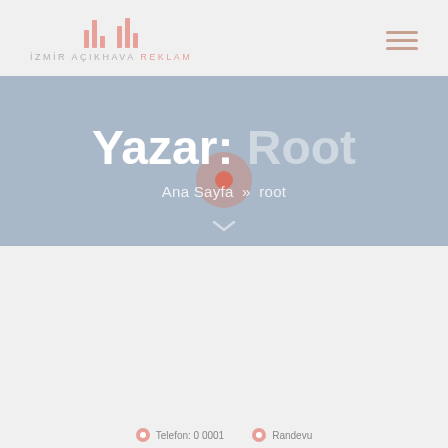[Figure (logo): İzmir Açıkhava Reklam logo with pink bar chart icon and text]
[Figure (illustration): Hamburger menu icon with three horizontal lines in pink/salmon color]
Yazar: Root
Ana Sayfa » root
Telefon: 0 0001   Randevu